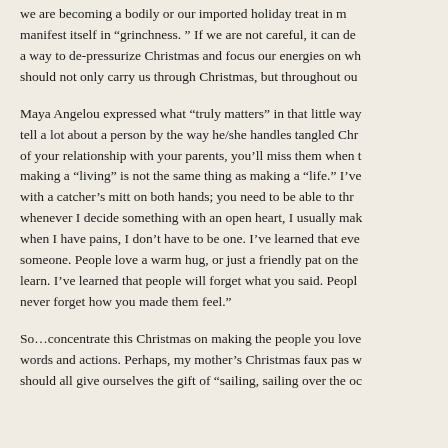we are becoming a bodily or our imported holiday treat in m manifest itself in “grinchness.” If we are not careful, it can de a way to de-pressurize Christmas and focus our energies on wh should not only carry us through Christmas, but throughout ou
Maya Angelou expressed what “truly matters” in that little way tell a lot about a person by the way he/she handles tangled Chr of your relationship with your parents, you’ll miss them when making a “living” is not the same thing as making a “life.” I’ve with a catcher’s mitt on both hands; you need to be able to thr whenever I decide something with an open heart, I usually mak when I have pains, I don’t have to be one. I’ve learned that eve someone. People love a warm hug, or just a friendly pat on the learn. I’ve learned that people will forget what you said. Peopl never forget how you made them feel.”
So…concentrate this Christmas on making the people you love words and actions. Perhaps, my mother’s Christmas faux pas w should all give ourselves the gift of “sailing, sailing over the oc